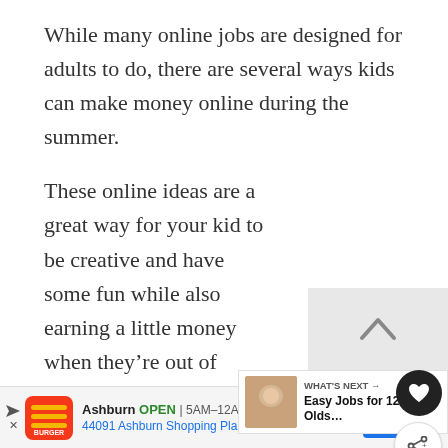While many online jobs are designed for adults to do, there are several ways kids can make money online during the summer.
These online ideas are a great way for your kid to be creative and have some fun while also earning a little money when they're out of school:
Start a YouTube channel
Write a blog
Sell handmade products on Ets…
Create an online shop and sell physical
[Figure (screenshot): Web UI overlay elements: scroll-to-top button (light gray box with up arrow), heart/favorite button (dark circle), share button (white circle), and 'What's Next' card showing 'Easy Jobs for 12 Year Olds...']
[Figure (infographic): Advertisement bar: Burger King logo with Ashburn OPEN 5AM-12AM, 44091 Ashburn Shopping Plaza, Ashbu. with blue navigation icon]